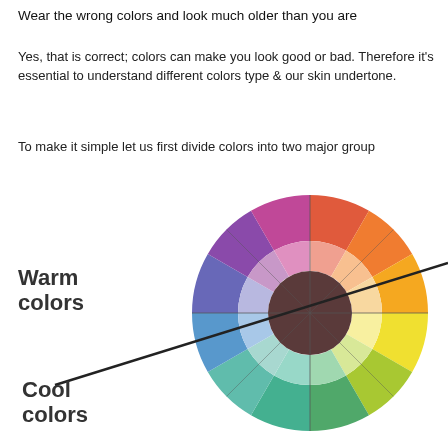Wear the wrong colors and look much older than you are
Yes, that is correct; colors can make you look good or bad. Therefore it's essential to understand different colors type & our skin undertone.
To make it simple let us first divide colors into two major group
[Figure (illustration): A color wheel divided into warm colors (reds, oranges, yellows, pinks, purples on the left/top) and cool colors (greens, teals, blues on the right/bottom), with a diagonal black line dividing them. Labels 'Warm colors' and 'Cool colors' appear on the left side.]